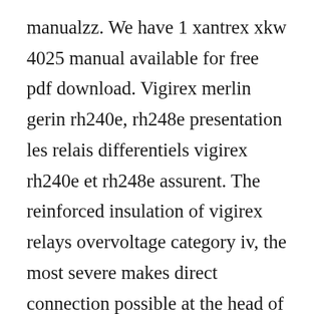manualzz. We have 1 xantrex xkw 4025 manual available for free pdf download. Vigirex merlin gerin rh240e, rh248e presentation les relais differentiels vigirex rh240e et rh248e assurent. The reinforced insulation of vigirex relays overvoltage category iv, the most severe makes direct connection possible at the head of the installation or on the upstream busbars without any additional galvanic isolation. Sensors for conductors range from a little more than an inch diameter toroids, to large rectangular sensors measuring 6 x 18 inches